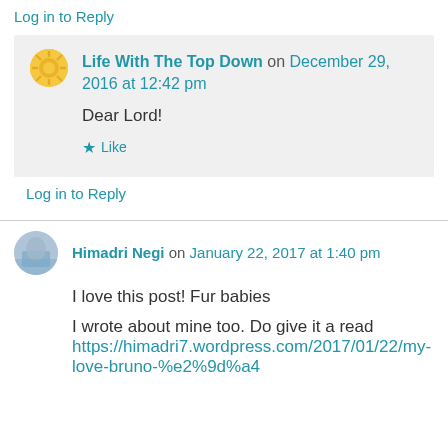Log in to Reply
Life With The Top Down on December 29, 2016 at 12:42 pm
Dear Lord!
Like
Log in to Reply
Himadri Negi on January 22, 2017 at 1:40 pm
I love this post! Fur babies
I wrote about mine too. Do give it a read https://himadri7.wordpress.com/2017/01/22/my-love-bruno-%e2%9d%a4